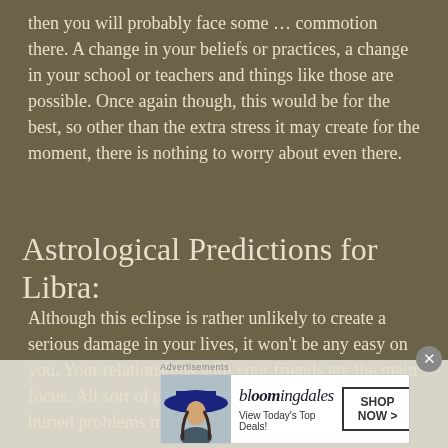then you will probably face some … commotion there. A change in your beliefs or practices, a change in your school or teachers and things like those are possible. Once again though, this would be for the best, so other than the extra stress it may create for the moment, there is nothing to worry about even there.
Astrological Predictions for Libra:
Although this eclipse is rather unlikely to create a serious damage in your lives, it won't be any easy on you. Your relationships with your friends are the main focus. All sort of problems can occur, and old and buried problems may resurface. This will
[Figure (other): Bloomingdale's advertisement banner with logo, 'View Today's Top Deals!' text, woman wearing a large brim hat, and 'SHOP NOW >' button]